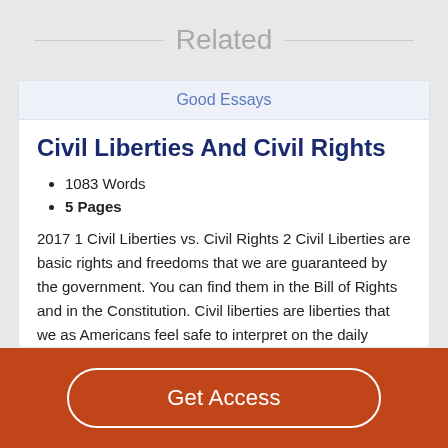Related
Good Essays
Civil Liberties And Civil Rights
1083 Words
5 Pages
2017 1 Civil Liberties vs. Civil Rights 2 Civil Liberties are basic rights and freedoms that we are guaranteed by the government. You can find them in the Bill of Rights and in the Constitution. Civil liberties are liberties that we as Americans feel safe to interpret on the daily basis. 3 Some civil liberties include, the right 4 for free speech, the right to privacy, the
Get Access